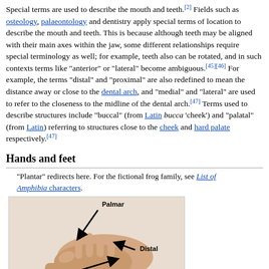Special terms are used to describe the mouth and teeth.[2] Fields such as osteology, palaeontology and dentistry apply special terms of location to describe the mouth and teeth. This is because although teeth may be aligned with their main axes within the jaw, some different relationships require special terminology as well; for example, teeth also can be rotated, and in such contexts terms like "anterior" or "lateral" become ambiguous.[45][46] For example, the terms "distal" and "proximal" are also redefined to mean the distance away or close to the dental arch, and "medial" and "lateral" are used to refer to the closeness to the midline of the dental arch.[47] Terms used to describe structures include "buccal" (from Latin bucca 'cheek') and "palatal" (from Latin) referring to structures close to the cheek and hard palate respectively.[47]
Hands and feet
"Plantar" redirects here. For the fictional frog family, see List of Amphibia characters.
[Figure (photo): Diagram of a hand showing anatomical directions: Palmar (top-left, with upward arrow), Distal (right side, with rightward arrow), Proximal (bottom-left label). Arrows drawn on a photograph of a human hand.]